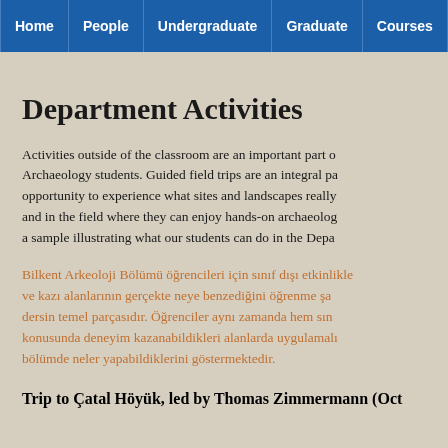Home | People | Undergraduate | Graduate | Courses | Rese...
Department Activities
Activities outside of the classroom are an important part of Archaeology students. Guided field trips are an integral part opportunity to experience what sites and landscapes really and in the field where they can enjoy hands-on archaeolog a sample illustrating what our students can do in the Depa
Bilkent Arkeoloji Bölümü öğrencileri için sınıf dışı etkinlikle ve kazı alanlarının gerçekte neye benzediğini öğrenme ş dersin temel parçasıdır. Öğrenciler aynı zamanda hem sın konusunda deneyim kazanabildikleri alanlarda uygulamalı bölümde neler yapabildiklerini göstermektedir.
Trip to Çatal Höyük, led by Thomas Zimmermann (Oct
Dr. Thomas Zimmerm